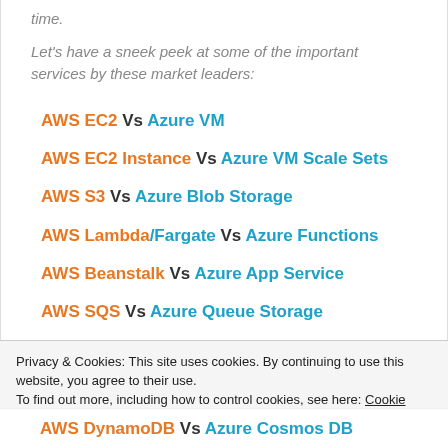time.
Let's have a sneek peek at some of the important services by these market leaders:
AWS EC2 Vs Azure VM
AWS EC2 Instance Vs Azure VM Scale Sets
AWS S3 Vs Azure Blob Storage
AWS Lambda/Fargate Vs Azure Functions
AWS Beanstalk Vs Azure App Service
AWS SQS Vs Azure Queue Storage
Privacy & Cookies: This site uses cookies. By continuing to use this website, you agree to their use. To find out more, including how to control cookies, see here: Cookie Policy
AWS DynamoDB Vs Azure Cosmos DB